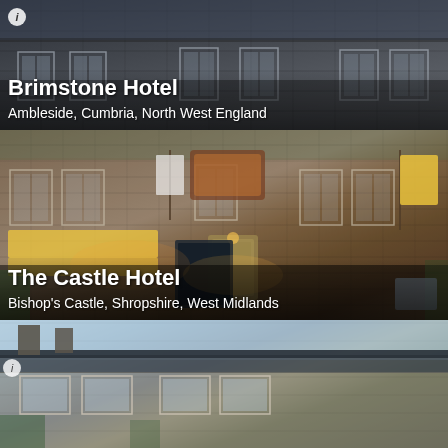[Figure (photo): Exterior photo of Brimstone Hotel, a stone building photographed at twilight, with dark stone walls and multiple sash windows]
Brimstone Hotel
Ambleside, Cumbria, North West England
[Figure (photo): Exterior photo of The Castle Hotel, a stone building with entrance door, banners and signs, warm evening lighting]
The Castle Hotel
Bishop's Castle, Shropshire, West Midlands
[Figure (photo): Partial exterior photo of a third stone hotel building with slate roof and a large tree to the right]